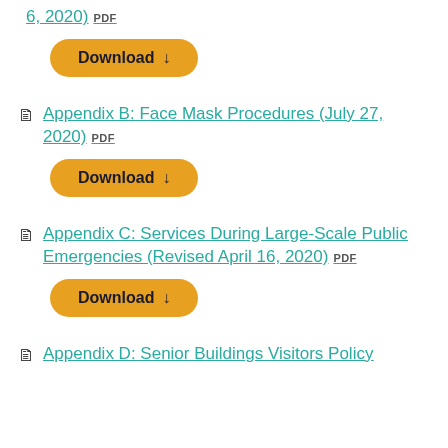6, 2020)  PDF
Download
Appendix B: Face Mask Procedures (July 27, 2020)  PDF
Download
Appendix C: Services During Large-Scale Public Emergencies (Revised April 16, 2020)  PDF
Download
Appendix D: Senior Buildings Visitors Policy